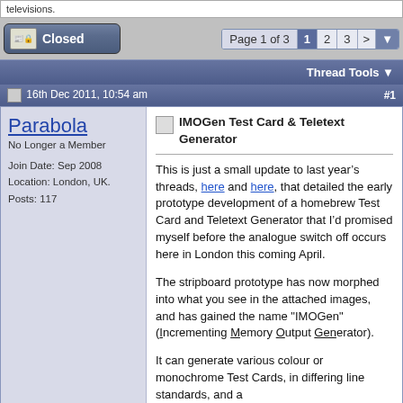televisions.
Closed | Page 1 of 3
Thread Tools
16th Dec 2011, 10:54 am   #1
Parabola
No Longer a Member
Join Date: Sep 2008
Location: London, UK.
Posts: 117
IMOGen Test Card & Teletext Generator
This is just a small update to last year’s threads, here and here, that detailed the early prototype development of a homebrew Test Card and Teletext Generator that I’d promised myself before the analogue switch off occurs here in London this coming April.
The stripboard prototype has now morphed into what you see in the attached images, and has gained the name "IMOGen" (Incrementing Memory Output Generator).
It can generate various colour or monochrome Test Cards, in differing line standards, and a